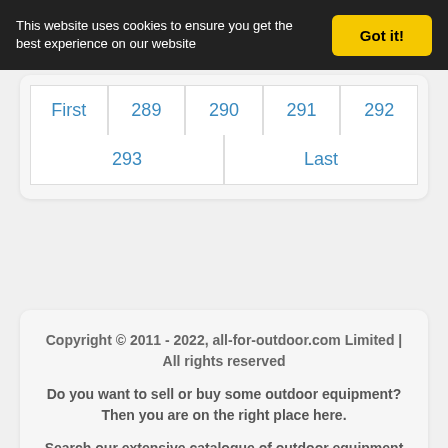This website uses cookies to ensure you get the best experience on our website
Got it!
| First | 289 | 290 | 291 | 292 |
| --- | --- | --- | --- | --- |
| 293 | Last |  |  |  |
Copyright © 2011 - 2022, all-for-outdoor.com Limited | All rights reserved
Do you want to sell or buy some outdoor equipment? Then you are on the right place here.
Search our extensive catalogue of outdoor equipment and accessories. You can find here every tents or rucksacks you can imagine.